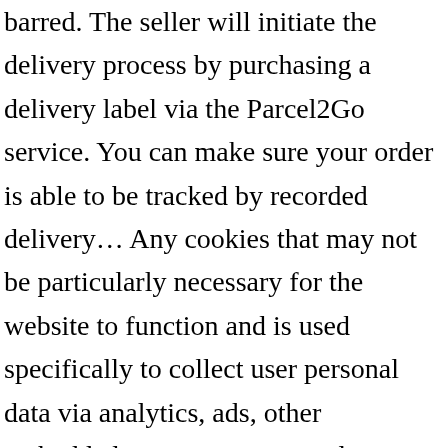barred. The seller will initiate the delivery process by purchasing a delivery label via the Parcel2Go service. You can make sure your order is able to be tracked by recorded delivery… Any cookies that may not be particularly necessary for the website to function and is used specifically to collect user personal data via analytics, ads, other embedded contents are termed as non-necessary cookies. The Terms shall be subject to Austrian law, excluding the UN Convention of International Sale of Goods and the reference norms (IPRG, EVÜ, etc.). Companies using the Shpock+ service (Shpock+